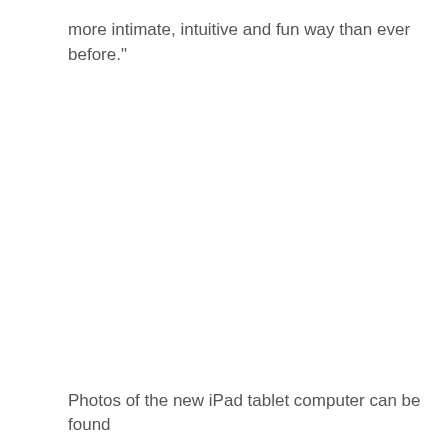more intimate, intuitive and fun way than ever before."
Photos of the new iPad tablet computer can be found